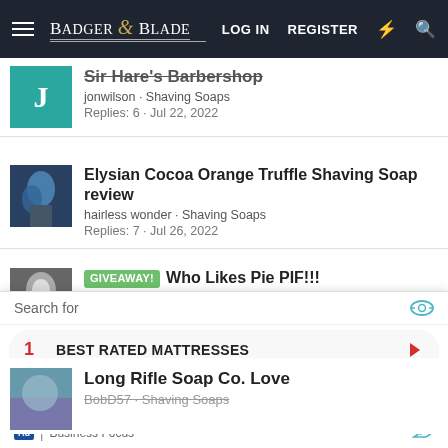Badger & Blade | LOG IN | REGISTER
Sir Hare's BarbershopStrikethrough
jonwilson · Shaving Soaps
Replies: 6 · Jul 22, 2022
Elysian Cocoa Orange Truffle Shaving Soap review
hairless wonder · Shaving Soaps
Replies: 7 · Jul 26, 2022
GIVEAWAY! Who Likes Pie PIF!!!
dmshaver · General Shaving Discussion
Replies: 21 · Mar 30, 2022
Long Rifle Soap Co. Love
BobD57 · Shaving Soaps
Search for
1  BEST RATED MATTRESSES
2  HAIR THICKENING SHAMPOOS
Ad | Business Focus